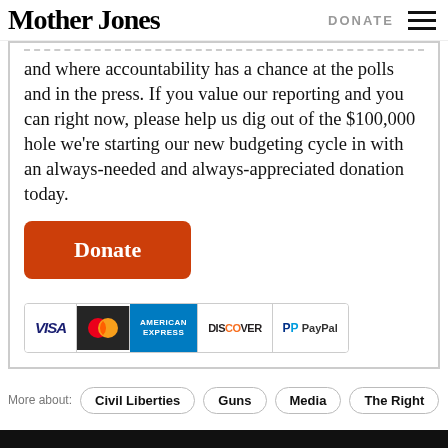Mother Jones | DONATE
and where accountability has a chance at the polls and in the press. If you value our reporting and you can right now, please help us dig out of the $100,000 hole we're starting our new budgeting cycle in with an always-needed and always-appreciated donation today.
[Figure (other): Orange donate button with white text 'Donate']
[Figure (other): Payment method icons: Visa, Mastercard, American Express, Discover, PayPal]
More about: Civil Liberties  Guns  Media  The Right